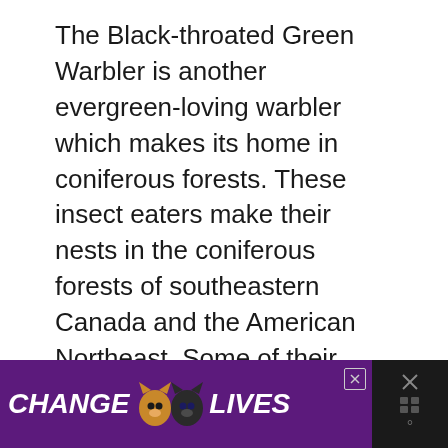The Black-throated Green Warbler is another evergreen-loving warbler which makes its home in coniferous forests. These insect eaters make their nests in the coniferous forests of southeastern Canada and the American Northeast. Some of their favorite foods are caterpillars, but they also eat berries in the winter.
[Figure (infographic): Teal circular heart (favorite/like) button and a light gray circular share button on the right side of the page]
[Figure (infographic): What's Next promotional box with a bird photo thumbnail and text '7 Species of Hawks in...' with a teal arrow label 'WHAT'S NEXT']
[Figure (infographic): Purple ad banner at bottom reading 'CHANGE [cat face icons] LIVES' with close buttons]